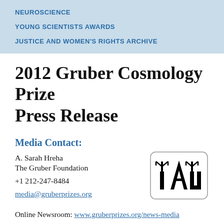NEUROSCIENCE
YOUNG SCIENTISTS AWARDS
JUSTICE AND WOMEN'S RIGHTS ARCHIVE
2012 Gruber Cosmology Prize Press Release
Media Contact:
A. Sarah Hreha
The Gruber Foundation
+1 212-247-8484
media@gruberprizes.org
[Figure (logo): IAU (International Astronomical Union) logo — letters I, A, U with stylized pitchfork symbols on I and U, inside a rounded rectangle border]
Online Newsroom: www.gruberprizes.org/news-media